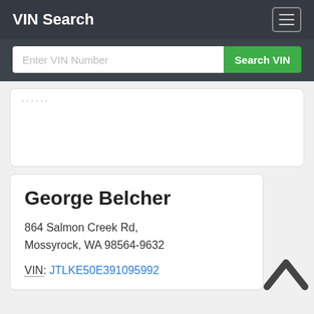VIN Search
Enter VIN Number  Search VIN
......
George Belcher
864 Salmon Creek Rd, Mossyrock, WA 98564-9632
VIN: JTLKE50E391095992